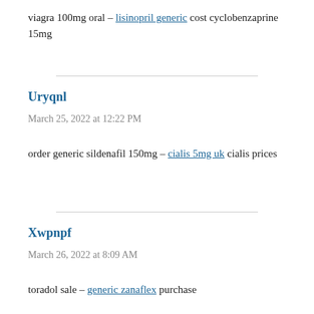viagra 100mg oral – lisinopril generic cost cyclobenzaprine 15mg
Uryqnl
March 25, 2022 at 12:22 PM
order generic sildenafil 150mg – cialis 5mg uk cialis prices
Xwpnpf
March 26, 2022 at 8:09 AM
toradol sale – generic zanaflex purchase